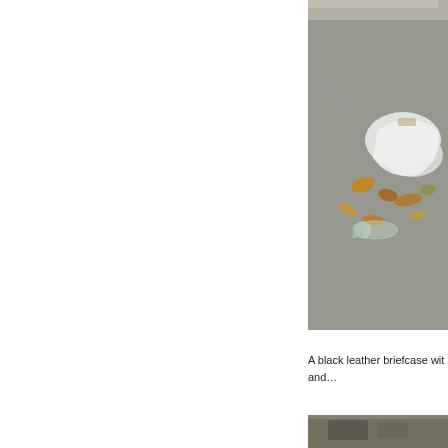[Figure (photo): Photo of broken glass bottle and white plastic bag on pavement with autumn leaves scattered around, near a building entrance.]
A black leather briefcase wit... and…
[Figure (photo): Partial photo at bottom, showing pavement or ground with objects, cropped.]